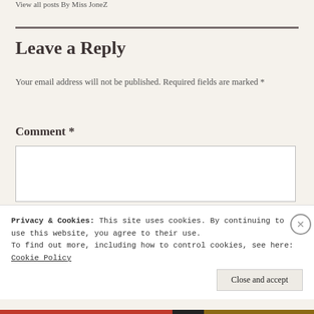View all posts By Miss JoneZ
Leave a Reply
Your email address will not be published. Required fields are marked *
Comment *
Privacy & Cookies: This site uses cookies. By continuing to use this website, you agree to their use.
To find out more, including how to control cookies, see here: Cookie Policy
Close and accept